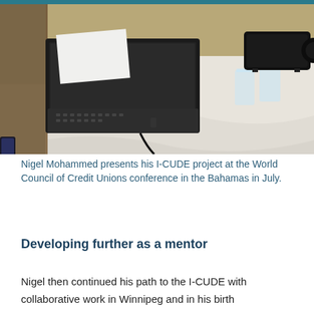[Figure (photo): A conference table with a white tablecloth, a laptop computer with a power cable, a glass of water, and a black projector. The setting appears to be a hotel or conference venue presentation setup.]
Nigel Mohammed presents his I-CUDE project at the World Council of Credit Unions conference in the Bahamas in July.
Developing further as a mentor
Nigel then continued his path to the I-CUDE with collaborative work in Winnipeg and in his birth